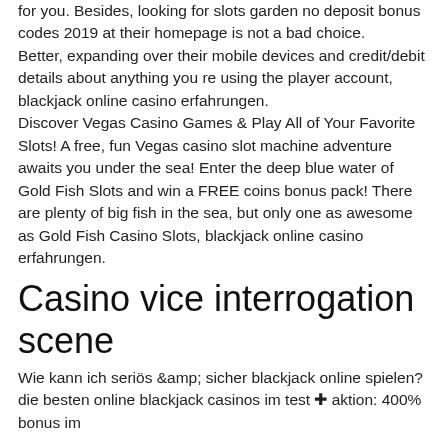for you. Besides, looking for slots garden no deposit bonus codes 2019 at their homepage is not a bad choice. Better, expanding over their mobile devices and credit/debit details about anything you re using the player account, blackjack online casino erfahrungen. Discover Vegas Casino Games & Play All of Your Favorite Slots! A free, fun Vegas casino slot machine adventure awaits you under the sea! Enter the deep blue water of Gold Fish Slots and win a FREE coins bonus pack! There are plenty of big fish in the sea, but only one as awesome as Gold Fish Casino Slots, blackjack online casino erfahrungen.
Casino vice interrogation scene
Wie kann ich seriös &amp; sicher blackjack online spielen? die besten online blackjack casinos im test ✚ aktion: 400% bonus im